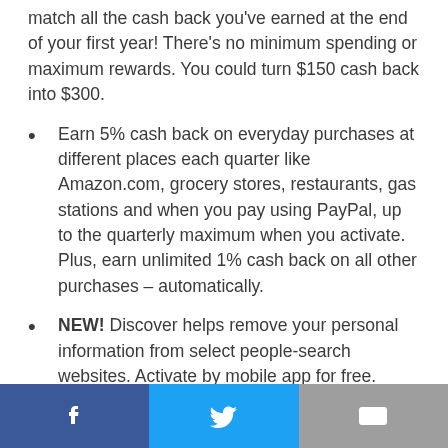match all the cash back you've earned at the end of your first year! There's no minimum spending or maximum rewards. You could turn $150 cash back into $300.
Earn 5% cash back on everyday purchases at different places each quarter like Amazon.com, grocery stores, restaurants, gas stations and when you pay using PayPal, up to the quarterly maximum when you activate. Plus, earn unlimited 1% cash back on all other purchases – automatically.
NEW! Discover helps remove your personal information from select people-search websites. Activate by mobile app for free.
Every $1 you earn in cash back is $1 you can
Facebook | Twitter | Email